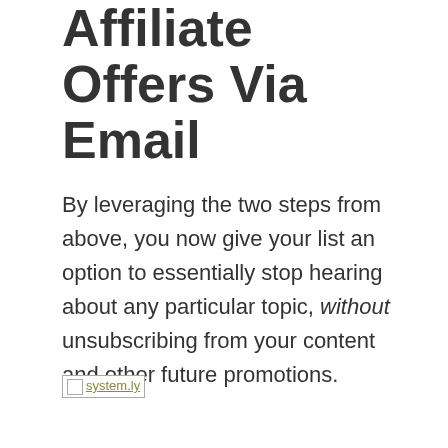Affiliate Offers Via Email
By leveraging the two steps from above, you now give your list an option to essentially stop hearing about any particular topic, without unsubscribing from your content and other future promotions.
[Figure (logo): system.ly logo image (broken/placeholder image link)]